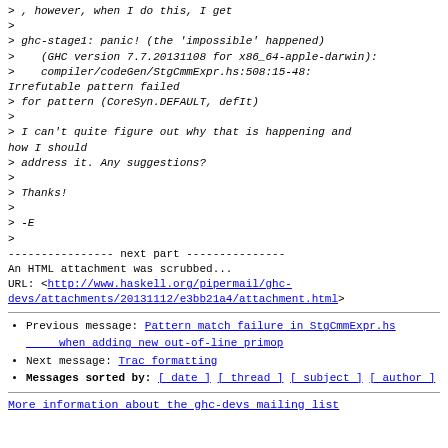> , however, when I do this, I get
>
> ghc-stage1: panic! (the 'impossible' happened)
>    (GHC version 7.7.20131108 for x86_64-apple-darwin):
>    compiler/codeGen/StgCmmExpr.hs:508:15-48:
Irrefutable pattern failed
> for pattern (CoreSyn.DEFAULT, defIt)
>
> I can't quite figure out why that is happening and how I should
> address it. Any suggestions?
>
> Thanks!
>
> -E
>
---------------- next part ---------------
An HTML attachment was scrubbed...
URL: <http://www.haskell.org/pipermail/ghc-devs/attachments/20131112/e3bb21a4/attachment.html>
Previous message: Pattern match failure in StgCmmExpr.hs when adding new out-of-line primop
Next message: Trac formatting
Messages sorted by: [ date ] [ thread ] [ subject ] [ author ]
More information about the ghc-devs mailing list